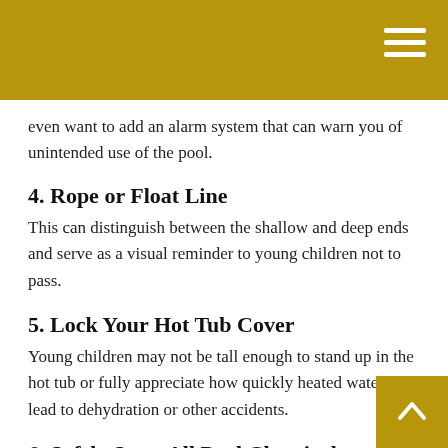even want to add an alarm system that can warn you of unintended use of the pool.
4. Rope or Float Line
This can distinguish between the shallow and deep ends and serve as a visual reminder to young children not to pass.
5. Lock Your Hot Tub Cover
Young children may not be tall enough to stand up in the hot tub or fully appreciate how quickly heated water can lead to dehydration or other accidents.
6. Safely Store All Pool Chemicals
These chemicals represent a danger not only to children but also to the adults who use them. Find a safe storage area and handle them properly.